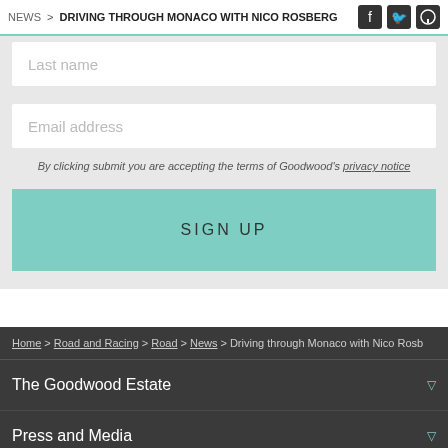NEWS > DRIVING THROUGH MONACO WITH NICO ROSBERG
Last name
Email address
By clicking submit you are accepting the terms of Goodwood's privacy notice
SIGN UP
Home > Road and Racing > Road > News > Driving through Monaco with Nico Rosb…
The Goodwood Estate
Press and Media
Goodwood for Leisure